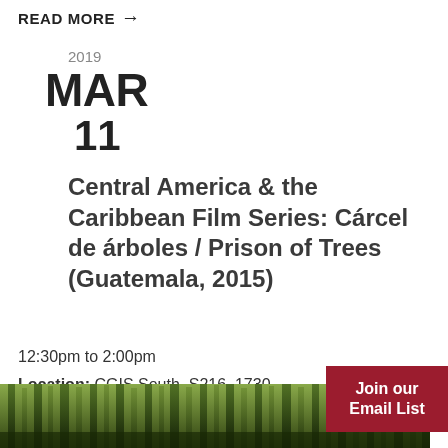READ MORE →
2019
MAR
11
Central America & the Caribbean Film Series: Cárcel de árboles / Prison of Trees (Guatemala, 2015)
12:30pm to 2:00pm
Location: CGIS South, S216, 1730 Cambridge Street
[Figure (photo): Forest/trees photo strip at bottom of page, green and dark tones]